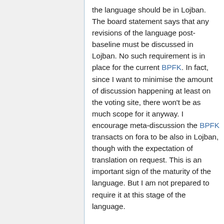the language should be in Lojban. The board statement says that any revisions of the language post-baseline must be discussed in Lojban. No such requirement is in place for the current BPFK. In fact, since I want to minimise the amount of discussion happening at least on the voting site, there won't be as much scope for it anyway. I encourage meta-discussion the BPFK transacts on fora to be also in Lojban, though with the expectation of translation on request. This is an important sign of the maturity of the language. But I am not prepared to require it at this stage of the language.